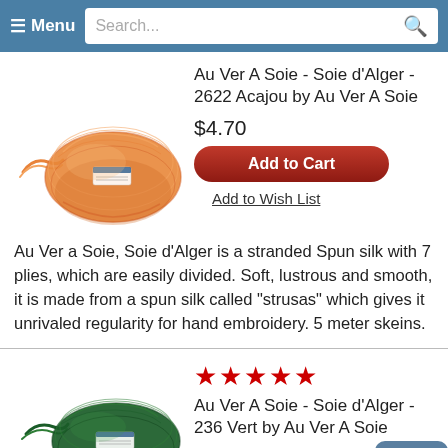≡ Menu  Search...  🔍
[Figure (photo): Orange silk embroidery thread skein - Au Ver A Soie Soie d'Alger 2622 Acajou]
Au Ver A Soie - Soie d'Alger - 2622 Acajou by Au Ver A Soie
$4.70
Add to Cart
Add to Wish List
Au Ver a Soie, Soie d'Alger is a stranded Spun silk with 7 plies, which are easily divided. Soft, lustrous and smooth, it is made from a spun silk called "strusas" which gives it unrivaled regularity for hand embroidery. 5 meter skeins.
[Figure (photo): Dark green silk embroidery thread skein - Au Ver A Soie Soie d'Alger 236 Vert]
★★★★★ Au Ver A Soie - Soie d'Alger - 236 Vert by Au Ver A Soie
$4.70